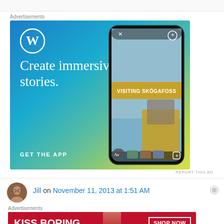Advertisements
[Figure (illustration): WordPress app advertisement. Blue-to-yellow gradient background. WordPress logo (W in circle) top left. Text: 'Create immersive stories.' and 'GET THE APP'. Right side shows a phone mockup with a story showing 'VISITING SKÓGAFOSS' and a person in yellow jacket looking at waterfall.]
REPORT THIS AD
Jill on November 11, 2013 at 1:51 AM
Advertisements
[Figure (illustration): Macy's advertisement. Red background with close-up photo of woman's lips. Text: 'KISS BORING LIPS GOODBYE'. 'SHOP NOW' button and Macy's star logo on right side.]
REPORT THIS AD